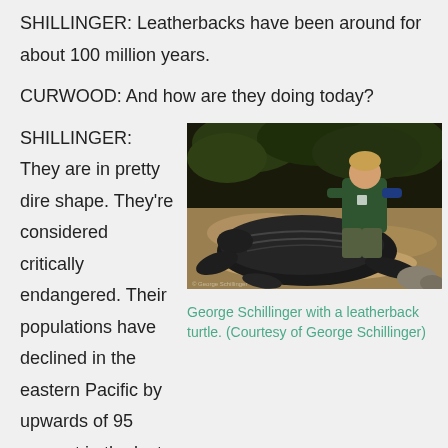SHILLINGER: Leatherbacks have been around for about 100 million years.
CURWOOD: And how are they doing today?
SHILLINGER: They are in pretty dire shape. They're considered critically endangered. Their populations have declined in the eastern Pacific by upwards of 95 percent in the last twenty years and in the western Pacific levels of around 80…
[Figure (photo): George Schillinger kneeling behind a large leatherback turtle on a sandy beach at night, with dark vegetation in the background.]
George Schillinger with a leatherback turtle. (Courtesy of George Schillinger)